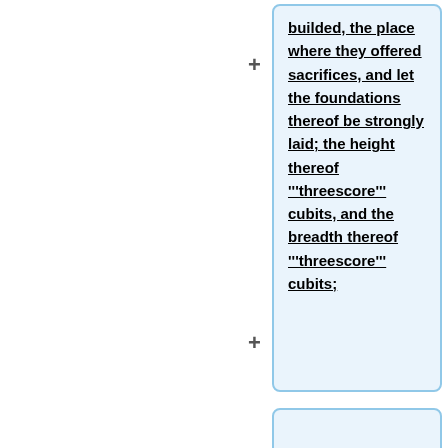builded, the place where they offered sacrifices, and let the foundations thereof be strongly laid; the height thereof '''threescore''' cubits, and the breadth thereof '''threescore''' cubits;
* Ezra 6:3: In the first year of Cyrus the king the same Cyrus the king made a decree concerning the house of God at Jerusalem, Let the house be builded, the place where they offered sacrifices, and let the foundations thereof be strongly laid; the height thereof '''threescore''' cubits, and the breadth thereof '''threescore''' cubits;